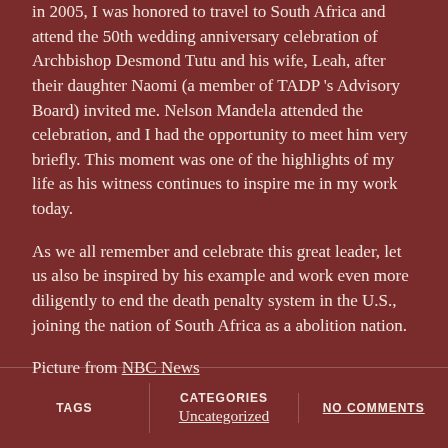the 50th wedding anniversary celebration of Archbishop Desmond Tutu and his wife, Leah, after their daughter Naomi (a member of TADP 's Advisory Board) invited me. Nelson Mandela attended the celebration, and I had the opportunity to meet him very briefly. This moment was one of the highlights of my life as his witness continues to inspire me in my work today.
As we all remember and celebrate this great leader, let us also be inspired by his example and work even more diligently to end the death penalty system in the U.S., joining the nation of South Africa as a abolition nation.
Picture from NBC News
TAGS | CATEGORIES Uncategorized | NO COMMENTS